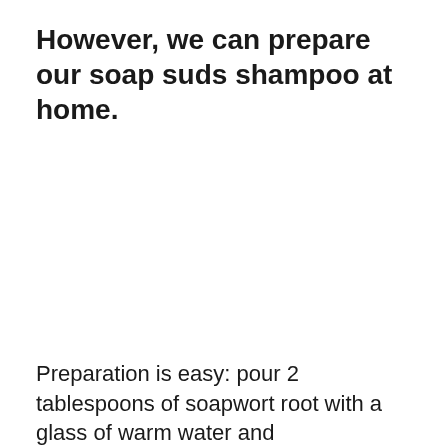However, we can prepare our soap suds shampoo at home.
Preparation is easy: pour 2 tablespoons of soapwort root with a glass of warm water and